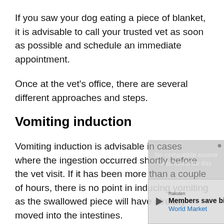If you saw your dog eating a piece of blanket, it is advisable to call your trusted vet as soon as possible and schedule an immediate appointment.
Once at the vet's office, there are several different approaches and steps.
Vomiting induction
Vomiting induction is advisable in cases where the ingestion occurred shortly before the vet visit. If it has been more than a couple of hours, there is no point in inducing vomiting as the swallowed piece will have already moved into the intestines.
If the vet decides to induce vomiting, it will give
[Figure (other): Video advertisement overlay with 'No compatible source was found for this' message and a World Market advertisement banner at the bottom showing 'Members save big' with a blue direction arrow icon.]